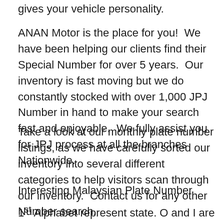gives your vehicle personality.
ANAN Motor is the place for you!  We have been helping our clients find their Special Number for over 5 years.  Our inventory is fast moving but we do constantly stocked with over 1,000 JPJ Number in hand to make your search fast and enjoyable.  We fully assist you for JPJ process at all the branches Nationwide.
Take a look at our monthly plate number listings, as we have carefully sorted our inventory into several different categories to help visitors scan through our inventory.  Contact us for any other Number search.
Interesting Malaysian Plate Number
1st Alphabet represent state. O and I are omitted from use due to possibility of mixing with 1 and zero. Z is for the